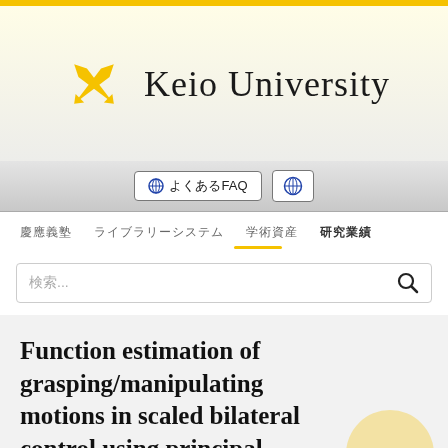[Figure (logo): Keio University logo with crossed feather pens in gold and university name text]
🌐 よくあるFAQ  🌐
慶應義塾  ライブラリーシステム  学術資産  研究業績
検索...
Function estimation of grasping/manipulating motions in scaled bilateral control using principal component analysis